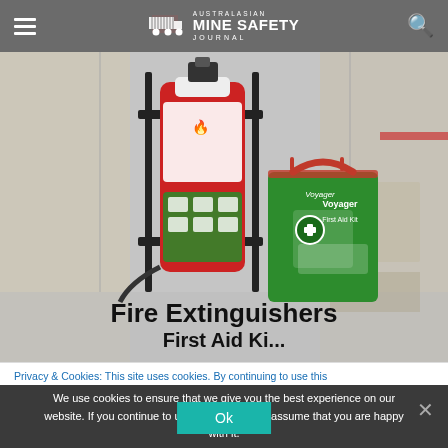Australasian Mine Safety Journal
[Figure (photo): A red fire extinguisher in a black wall-mount bracket alongside a green Voyager First Aid Kit bag, set against a blurred vehicle interior background. Text overlay reads 'Fire Extinguishers' and partially visible subtitle text below.]
Fire Extinguishers
Privacy & Cookies: This site uses cookies. By continuing to use this
We use cookies to ensure that we give you the best experience on our website. If you continue to use this site we will assume that you are happy with it.